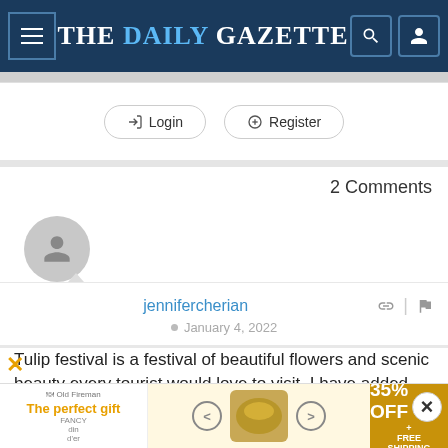THE DAILY GAZETTE
Login  Register
2 Comments
[Figure (illustration): User avatar placeholder — gray circle with silhouette icon]
jennifercherian
January 4, 2022
Tulip festival is a festival of beautiful flowers and scenic beauty every tourist would love to visit. I have added Tulip
[Figure (infographic): Advertisement banner: 'The perfect gift' with 35% OFF + FREE SHIPPING offer and food product image]